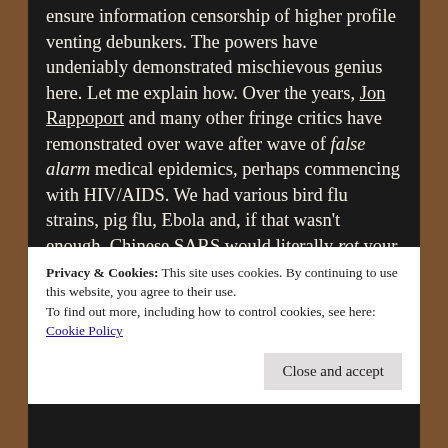ensure information censorship of higher profile venting debunkers. The powers have undeniably demonstrated mischievous genius here. Let me explain how. Over the years, Jon Rappoport and many other fringe critics have remonstrated over wave after wave of false alarm medical epidemics, perhaps commencing with HIV/AIDS. We had various bird flu strains, pig flu, Ebola and, if that wasn't enough, Chinese SARS would literally rot your DNA, we were told. Not a year went by without some "unexpected" incident briefly interrupting the headlines. To give this example, over the past few weeks I have undertaken a marketing campaign for a
Privacy & Cookies: This site uses cookies. By continuing to use this website, you agree to their use.
To find out more, including how to control cookies, see here: Cookie Policy